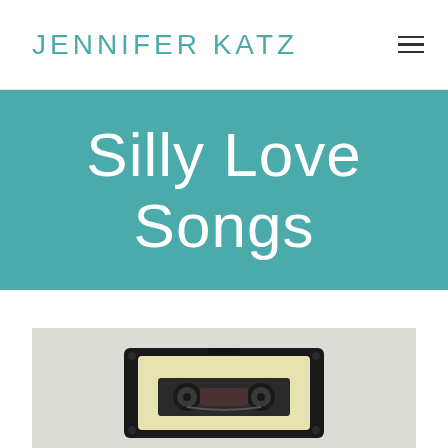JENNIFER KATZ
Silly Love Songs
[Figure (photo): A photo of a retro cassette tape lying flat on a light gray background. The cassette is black with a cream/yellow label in the center, featuring two reels and a tape window.]